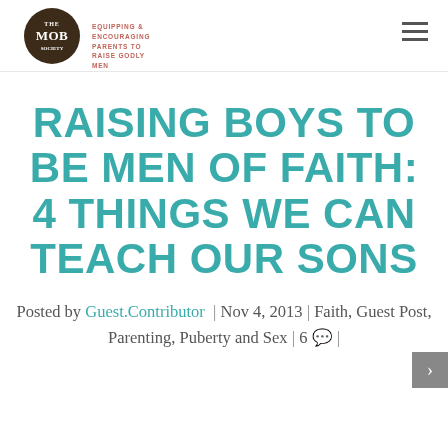The MOB Society — EQUIPPING & ENCOURAGING PARENTS TO RAISE GODLY MEN
RAISING BOYS TO BE MEN OF FAITH: 4 THINGS WE CAN TEACH OUR SONS
Posted by Guest.Contributor | Nov 4, 2013 | Faith, Guest Post, Parenting, Puberty and Sex | 6 |